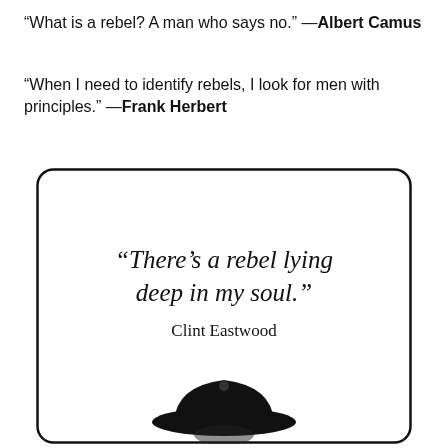“What is a rebel? A man who says no.” —Albert Camus
“When I need to identify rebels, I look for men with principles.” —Frank Herbert
[Figure (illustration): A card with rounded border containing an italic quote '“There’s a rebel lying deep in my soul.”', attributed to Clint Eastwood, with a black silhouette illustration of a cowboy hat and figure at the bottom.]